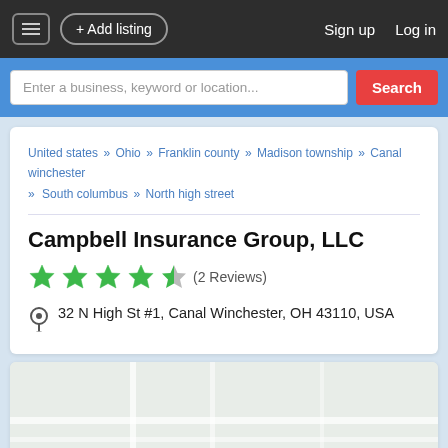+ Add listing   Sign up   Log in
Enter a business, keyword or location...
United states » Ohio » Franklin county » Madison township » Canal winchester » South columbus » North high street
Campbell Insurance Group, LLC
★★★★★ (2 Reviews)
32 N High St #1, Canal Winchester, OH 43110, USA
[Figure (map): Map area showing location of Campbell Insurance Group LLC]